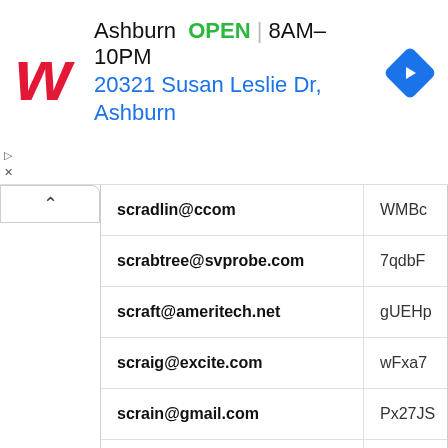[Figure (screenshot): Walgreens ad banner showing Ashburn location open 8AM-10PM at 20321 Susan Leslie Dr, Ashburn with navigation icon]
| Email | Code |
| --- | --- |
| scradlin@ccom | WMBc |
| scrabtree@svprobe.com | 7qdbF |
| scraft@ameritech.net | gUEHp |
| scraig@excite.com | wFxa7 |
| scrain@gmail.com | Px27JS |
| scrain@rediffmail.com | jTuV5E |
| scramer@earthlink.net | GLK3x |